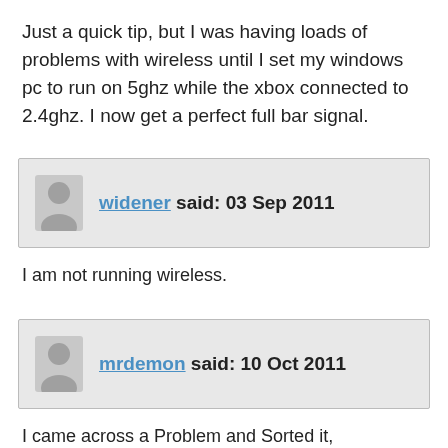Just a quick tip, but I was having loads of problems with wireless until I set my windows pc to run on 5ghz while the xbox connected to 2.4ghz. I now get a perfect full bar signal.
widener said: 03 Sep 2011
I am not running wireless.
mrdemon said: 10 Oct 2011
I came across a Problem and Sorted it,